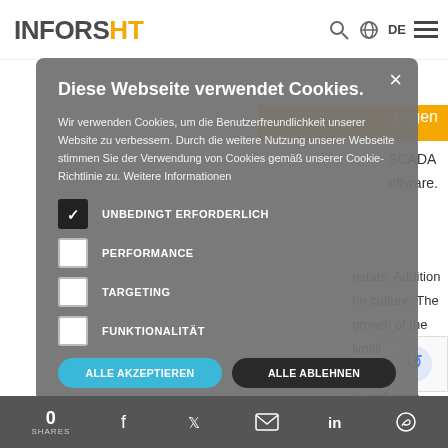[Figure (logo): INFORS HT logo with orange HT lettering]
ungen
SCADA oftware.
ostats. Addition he culture. The growth of the limiting hat the cells are d exchange
dilution ra
[Figure (screenshot): Cookie consent dialog overlay on INFORS HT website. Title: Diese Webseite verwendet Cookies. Body text: Wir verwenden Cookies, um die Benutzerfreundlichkeit unserer Website zu verbessern. Durch die weitere Nutzung unserer Webseite stimmen Sie der Verwendung von Cookies gemäß unserer Cookie-Richtlinie zu. Weitere Informationen. Checkboxes: UNBEDINGT ERFORDERLICH (checked), PERFORMANCE (unchecked), TARGETING (unchecked), FUNKTIONALITÄT (unchecked). Buttons: ALLE AKZEPTIEREN, ALLE ABLEHNEN.]
0 SHARES [social icons: facebook, twitter, email, linkedin, whatsapp]